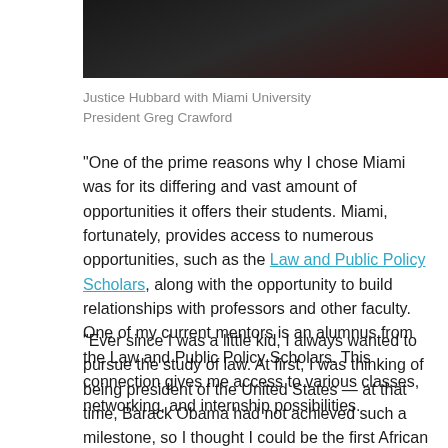[Figure (photo): Partial view of two people, cropped at top of page — appears to be Justice Hubbard with Miami University President Greg Crawford, photographed at an event with a dark/red background.]
Justice Hubbard with Miami University President Greg Crawford
"One of the prime reasons why I chose Miami was for its differing and vast amount of opportunities it offers their students. Miami, fortunately, provides access to numerous opportunities, such as the Law and Public Policy Scholars, along with the opportunity to build relationships with professors and other faculty. One of my current mentors is an alumnus from the Law and Public Policy Scholars. This connection gives me access to various classes, networking, and internship possibilities.
"Ever since I was a little kid, I always wanted to pursue the study of law. At first, I was thinking of being president of the United States — at that time, Barack Obama had not achieved such a milestone, so I thought I could be the first African American president. Of course, he then came along and